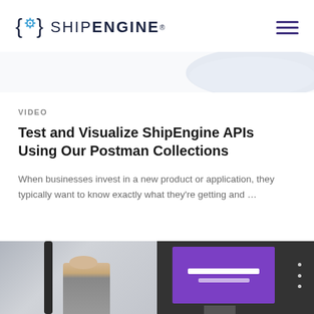ShipEngine logo and navigation
[Figure (screenshot): Partial hero image area with light blue/grey blob shape on right side]
VIDEO
Test and Visualize ShipEngine APIs Using Our Postman Collections
When businesses invest in a new product or application, they typically want to know exactly what they're getting and …
[Figure (photo): Bottom photo strip showing two images side by side: left panel shows a person standing in a room with a dark tube/device, right panel shows a presentation screen with purple and white ShipEngine branding]